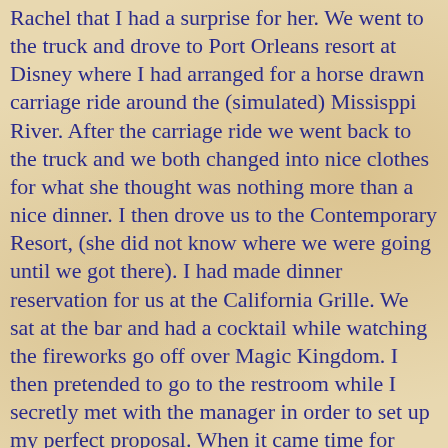Rachel that I had a surprise for her. We went to the truck and drove to Port Orleans resort at Disney where I had arranged for a horse drawn carriage ride around the (simulated) Missisppi River. After the carriage ride we went back to the truck and we both changed into nice clothes for what she thought was nothing more than a nice dinner. I then drove us to the Contemporary Resort, (she did not know where we were going until we got there). I had made dinner reservation for us at the California Grille. We sat at the bar and had a cocktail while watching the fireworks go off over Magic Kingdom. I then pretended to go to the restroom while I secretly met with the manager in order to set up my perfect proposal. When it came time for dessert the manager hand delivered a covered tray and informed us this was a special dessert that I had requested for Rachel. I then walked around and got down on one knee while he uncovered a dish with a glass slipper sitting on the plate. Inside the glass slipper was a small pillow that held her 3/4 carat diamond engagement ring. Written on the plate in chocolate were the words "will you marry me?" She sat in shock for a moment or two before saying yes!